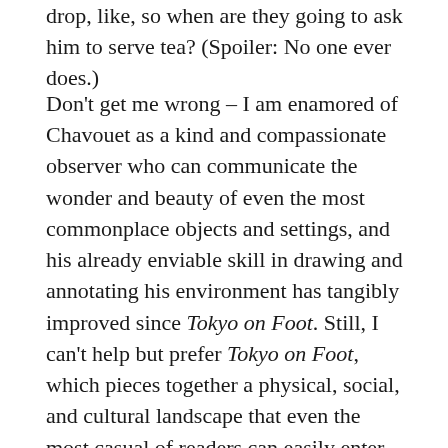drop, like, so when are they going to ask him to serve tea? (Spoiler: No one ever does.)
Don't get me wrong – I am enamored of Chavouet as a kind and compassionate observer who can communicate the wonder and beauty of even the most commonplace objects and settings, and his already enviable skill in drawing and annotating his environment has tangibly improved since Tokyo on Foot. Still, I can't help but prefer Tokyo on Foot, which pieces together a physical, social, and cultural landscape that even the most casual of readers can easily enter. While Tokyo on Foot collects a multitude of fragments and progressively demonstrates how they are all connected, everything is already a cohesive